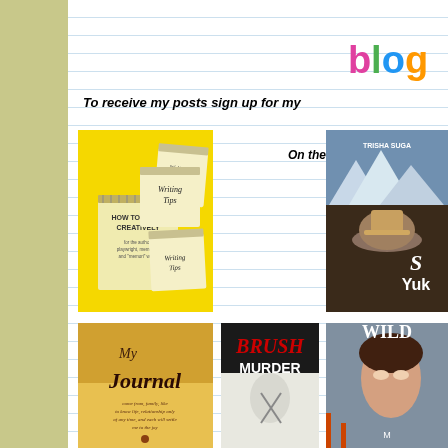[Figure (illustration): Olive/khaki colored sidebar background on left side of page]
[Figure (logo): Colorful 3D 'blog' text logo with letters in pink, green, blue, orange]
To receive my posts sign up for my
On the home page, enter your e
[Figure (photo): Book cover: How to Write Creatively - yellow background with stacked notebook pages showing 'Writing Tips']
[Figure (photo): Book cover: Son of the Yukon by Trisha Suga - man in cowboy hat with snowy mountains]
[Figure (photo): Book cover: My Journal - cursive title over golden field landscape]
[Figure (photo): Book cover: Brush Murder - red title with scissors on tablecloth]
[Figure (photo): Book cover: Wild - partial cover showing woman's face and bridge]